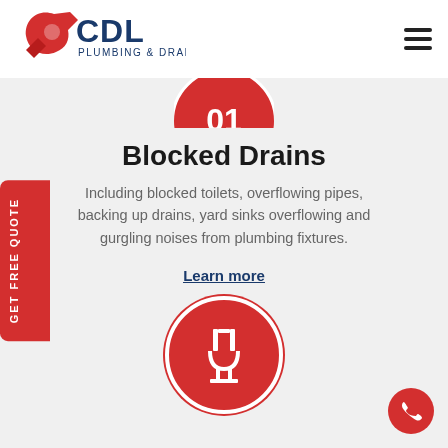[Figure (logo): CDL Plumbing & Drainage logo with red wrench icon and blue CDL text]
[Figure (illustration): Red circle icon with white plumbing/drain symbol (partially visible at top)]
Blocked Drains
Including blocked toilets, overflowing pipes, backing up drains, yard sinks overflowing and gurgling noises from plumbing fixtures.
Learn more
[Figure (illustration): Red circle icon with white blocked drain/pipe symbol]
GET FREE QUOTE